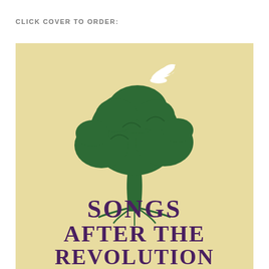CLICK COVER TO ORDER:
[Figure (illustration): Book cover for 'Songs After the Revolution' featuring a green illustrated tree on a tan/cream background with a white bird flying above it. Below the tree is the title text 'SONGS AFTER THE REVOLUTION' in large dark purple serif capital letters.]